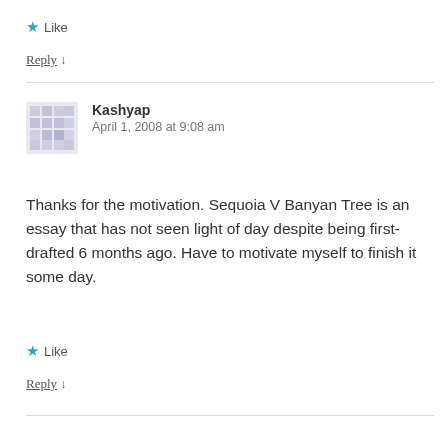★ Like
Reply ↓
Kashyap
April 1, 2008 at 9:08 am
Thanks for the motivation. Sequoia V Banyan Tree is an essay that has not seen light of day despite being first-drafted 6 months ago. Have to motivate myself to finish it some day.
★ Like
Reply ↓